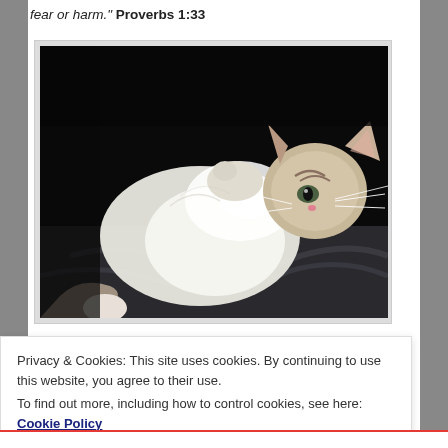fear or harm." Proverbs 1:33
[Figure (photo): A tabby and white cat lying on its back on a dark grey blanket, photographed against a dark background with dramatic lighting highlighting its white fur and whiskers.]
Privacy & Cookies: This site uses cookies. By continuing to use this website, you agree to their use.
To find out more, including how to control cookies, see here: Cookie Policy
Close and accept